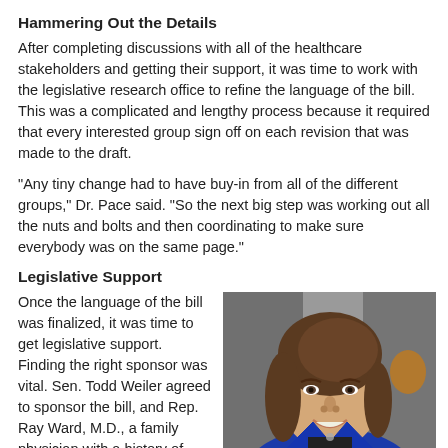Hammering Out the Details
After completing discussions with all of the healthcare stakeholders and getting their support, it was time to work with the legislative research office to refine the language of the bill. This was a complicated and lengthy process because it required that every interested group sign off on each revision that was made to the draft.
“Any tiny change had to have buy-in from all of the different groups,” Dr. Pace said. “So the next big step was working out all the nuts and bolts and then coordinating to make sure everybody was on the same page.”
Legislative Support
Once the language of the bill was finalized, it was time to get legislative support. Finding the right sponsor was vital. Sen. Todd Weiler agreed to sponsor the bill, and Rep. Ray Ward, M.D., a family physician with a history of working on legislation related
[Figure (photo): Portrait photo of a woman with brown hair wearing a blue blazer, smiling, with a blurred office background.]